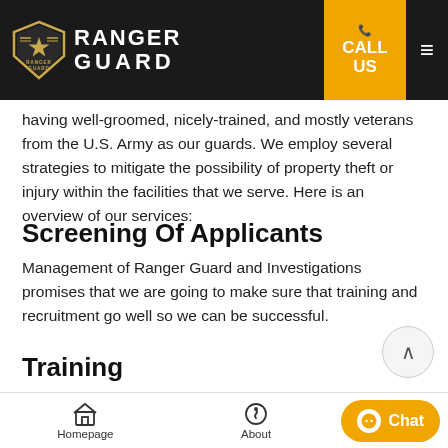RANGER GUARD — CALL US — navigation bar
having well-groomed, nicely-trained, and mostly veterans from the U.S. Army as our guards. We employ several strategies to mitigate the possibility of property theft or injury within the facilities that we serve. Here is an overview of our services:
Screening Of Applicants
Management of Ranger Guard and Investigations promises that we are going to make sure that training and recruitment go well so we can be successful.
Training
We do training that does much more than the competito…
Homepage | About | Contact | Chat